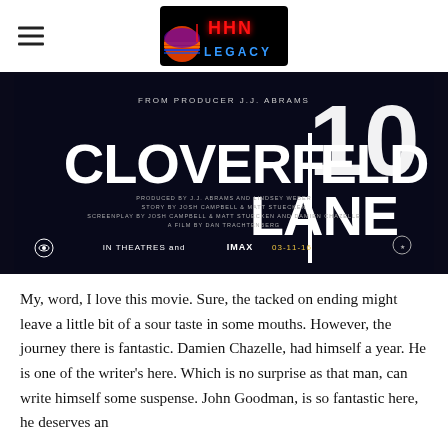HHN Legacy (logo)
[Figure (photo): Movie title card for '10 Cloverfield Lane' showing large white bold text on dark background. Text reads: FROM PRODUCER J.J. ABRAMS / 10 CLOVERFIELD LANE / PRODUCED BY J.J. ABRAMS AND LINDSEY WEBER / STORY BY JOSH CAMPBELL & MATT STUECKEN / SCREENPLAY BY JOSH CAMPBELL & MATT STUECKEN AND DAMIEN CHAZELLE / A FILM BY DAN TRACHTENBERG / IN THEATRES AND IMAX 03-11-16]
My, word, I love this movie. Sure, the tacked on ending might leave a little bit of a sour taste in some mouths. However, the journey there is fantastic. Damien Chazelle, had himself a year. He is one of the writer's here. Which is no surprise as that man, can write himself some suspense. John Goodman, is so fantastic here, he deserves an